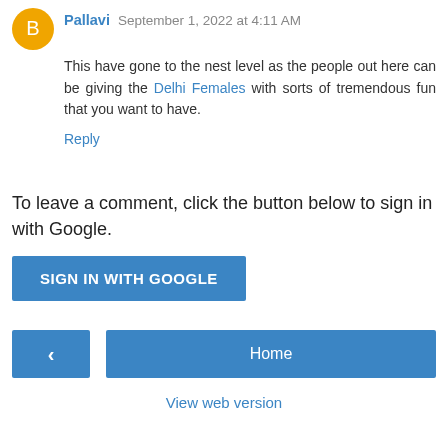Pallavi September 1, 2022 at 4:11 AM
This have gone to the nest level as the people out here can be giving the Delhi Females with sorts of tremendous fun that you want to have.
Reply
To leave a comment, click the button below to sign in with Google.
[Figure (other): SIGN IN WITH GOOGLE button (blue rectangle)]
[Figure (other): Navigation: left arrow button (blue) and Home button (blue)]
View web version